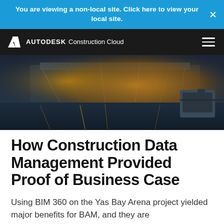You are viewing a non-local site. Click here to view your local site.
[Figure (screenshot): Autodesk Construction Cloud navigation bar with logo on left and hamburger menu on right, on black background]
[Figure (photo): Aerial/architectural photo of Yas Bay Arena construction project, showing building structure reflected in water, lit with warm golden light at night or dusk]
How Construction Data Management Provided Proof of Business Case
Using BIM 360 on the Yas Bay Arena project yielded major benefits for BAM, and they are